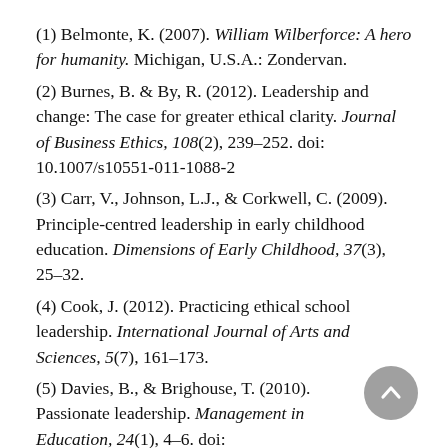(1) Belmonte, K. (2007). William Wilberforce: A hero for humanity. Michigan, U.S.A.: Zondervan.
(2) Burnes, B. & By, R. (2012). Leadership and change: The case for greater ethical clarity. Journal of Business Ethics, 108(2), 239-252. doi: 10.1007/s10551-011-1088-2
(3) Carr, V., Johnson, L.J., & Corkwell, C. (2009). Principle-centred leadership in early childhood education. Dimensions of Early Childhood, 37(3), 25-32.
(4) Cook, J. (2012). Practicing ethical school leadership. International Journal of Arts and Sciences, 5(7), 161-173.
(5) Davies, B., & Brighouse, T. (2010). Passionate leadership. Management in Education, 24(1), 4-6. doi: